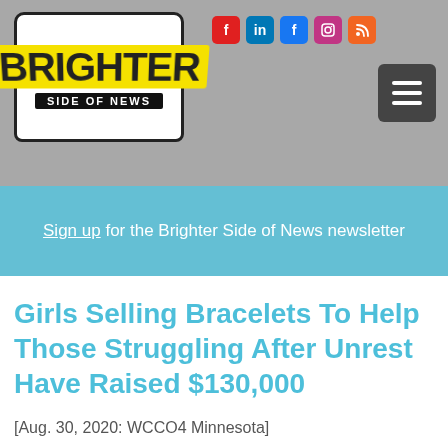[Figure (logo): Brighter Side of News logo — white rounded rectangle with black border, yellow BRIGHTER text, black SIDE OF NEWS banner below]
[Figure (infographic): Social media icons row: Flipboard (red), LinkedIn (blue), Facebook (blue), Instagram (pink/purple), RSS (orange); hamburger menu button (dark gray) to the right]
Sign up for the Brighter Side of News newsletter
Girls Selling Bracelets To Help Those Struggling After Unrest Have Raised $130,000
[Aug. 30, 2020: WCCO4 Minnesota]